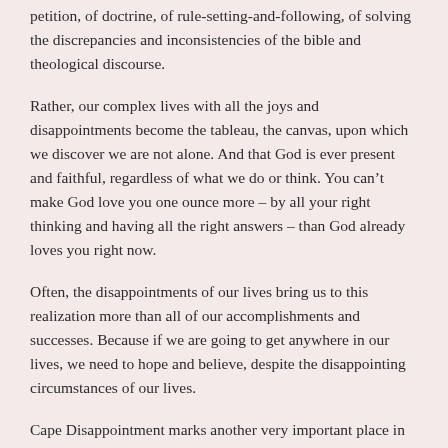petition, of doctrine, of rule-setting-and-following, of solving the discrepancies and inconsistencies of the bible and theological discourse.
Rather, our complex lives with all the joys and disappointments become the tableau, the canvas, upon which we discover we are not alone. And that God is ever present and faithful, regardless of what we do or think. You can't make God love you one ounce more – by all your right thinking and having all the right answers – than God already loves you right now.
Often, the disappointments of our lives bring us to this realization more than all of our accomplishments and successes. Because if we are going to get anywhere in our lives, we need to hope and believe, despite the disappointing circumstances of our lives.
Cape Disappointment marks another very important place in the history of North America. It is not just a place that signifies disappointment, tragedy and danger. It is also the